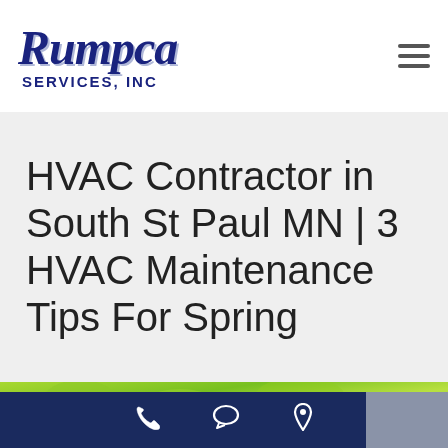Rumpca SERVICES, INC
HVAC Contractor in South St Paul MN | 3 HVAC Maintenance Tips For Spring
[Figure (photo): Close-up photo of bright green spring leaves with blurred blue sky background]
Phone, Chat, and Location icons navigation bar